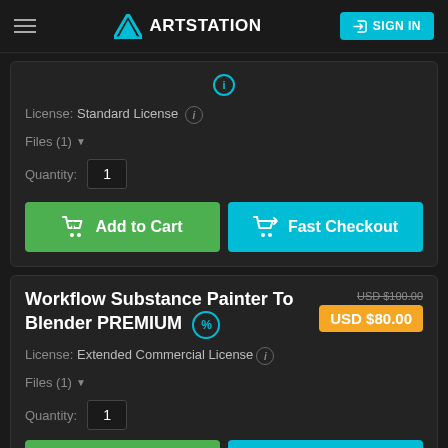ArtStation — SIGN IN
License: Standard License
Files (1)
Quantity: 1
Add to Cart
Fast Checkout
Workflow Substance Painter To Blender PREMIUM
USD $100.00  USD $80.00
License: Extended Commercial License
Files (1)
Quantity: 1